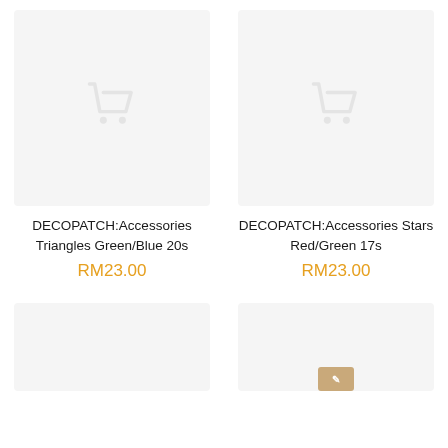[Figure (photo): Product image placeholder with shopping cart icon on light gray background – DECOPATCH Accessories Triangles Green/Blue 20s]
DECOPATCH:Accessories Triangles Green/Blue 20s
RM23.00
[Figure (photo): Product image placeholder with shopping cart icon on light gray background – DECOPATCH Accessories Stars Red/Green 17s]
DECOPATCH:Accessories Stars Red/Green 17s
RM23.00
[Figure (photo): Partial product image placeholder on light gray background – bottom left, partially cropped]
[Figure (photo): Partial product image placeholder on light gray background – bottom right, partially cropped, with a small tooltip/badge overlay]